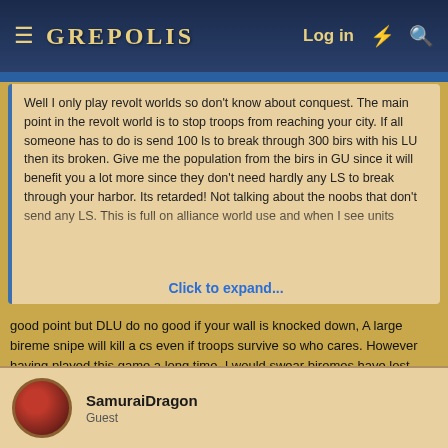GREPOLIS — Log in
Well I only play revolt worlds so don't know about conquest. The main point in the revolt world is to stop troops from reaching your city. If all someone has to do is send 100 ls to break through 300 birs with his LU then its broken. Give me the population from the birs in GU since it will benefit you a lot more since they don't need hardly any LS to break through your harbor. Its retarded! Not talking about the noobs that don't send any LS. This is full on alliance world use and when I see units...
Click to expand...
good point but DLU do no good if your wall is knocked down, A large bireme snipe will kill a cs even if troops survive so who cares. However having played this game a long time, I would swear biremes have lost some strength, I do not remember one LS nuke taking out 500 biremes in one stroke in the old days, Maybe I am crazy
SamuraiDragon
Guest